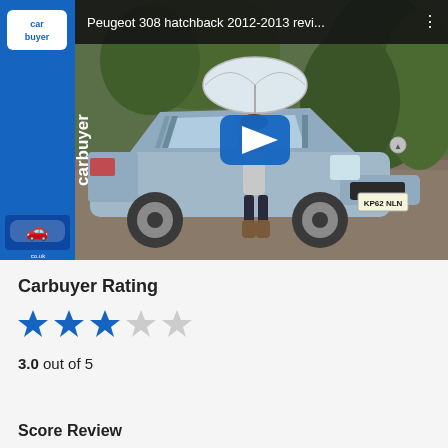[Figure (screenshot): YouTube-style video thumbnail showing a woman standing in front of a light blue Peugeot 308 hatchback (reg KP62 NLN) holding an umbrella in a driveway setting. Carbuyer logo is on the left strip. Title bar reads 'Peugeot 308 hatchback 2012-2013 revi...' with a blue play button overlay.]
Carbuyer Rating
[Figure (infographic): Star rating: 3 filled blue stars and 2 empty grey stars out of 5]
3.0 out of 5
Score Review